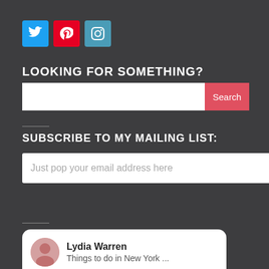[Figure (screenshot): Social media icon buttons: Twitter (blue), Pinterest (red), Instagram (teal)]
LOOKING FOR SOMETHING?
[Figure (screenshot): Search bar with white input field and red Search button]
SUBSCRIBE TO MY MAILING LIST:
Just pop your email address here
Sign me up!
[Figure (screenshot): Pinterest widget card showing Lydia Warren with text 'Things to do in New York ...' and three thumbnail images including a MEOW sign, a cat, and green flowers]